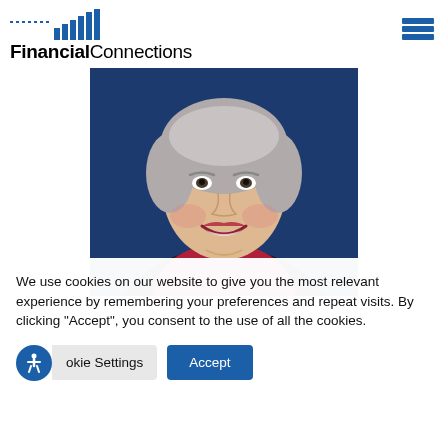[Figure (logo): FinancialConnections logo with blue bar chart icon and bold/regular wordmark]
[Figure (photo): Professional headshot of a smiling middle-aged woman with short grey hair, wearing a red/crimson top and dark jacket, against a dark blue background]
We use cookies on our website to give you the most relevant experience by remembering your preferences and repeat visits. By clicking “Accept”, you consent to the use of all the cookies.
Cookie Settings  Accept